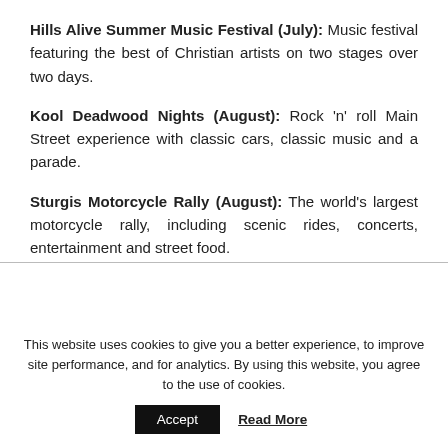Hills Alive Summer Music Festival (July): Music festival featuring the best of Christian artists on two stages over two days.
Kool Deadwood Nights (August): Rock 'n' roll Main Street experience with classic cars, classic music and a parade.
Sturgis Motorcycle Rally (August): The world's largest motorcycle rally, including scenic rides, concerts, entertainment and street food.
This website uses cookies to give you a better experience, to improve site performance, and for analytics. By using this website, you agree to the use of cookies.